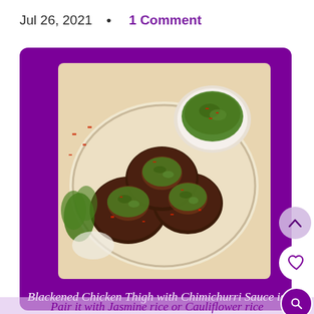Jul 26, 2021  •  1 Comment
[Figure (photo): A plate of blackened chicken thighs topped with chimichurri sauce and red pepper flakes, with a small bowl of chimichurri sauce in the background, presented on a white ceramic plate with herbs and garnishes.]
Blackened Chicken Thigh with Chimichurri Sauce is one of the best chicken thigh recipes that you just can't get enough of. Pair it with Jasmine rice or Cauliflower rice